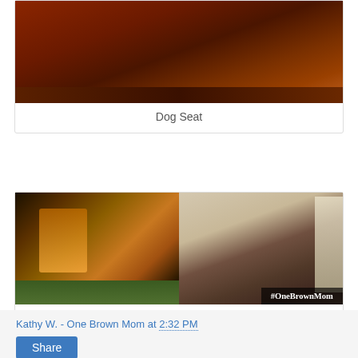[Figure (photo): Partially visible photo of wooden surface (dog seat), shown in a card with border]
Dog Seat
[Figure (photo): Two-photo collage: left shows an old wooden crate outdoors, right shows a small dog sitting on a brown tufted bench/ottoman looking out a window, with #OneBrownMom overlay text]
Old crate becomes dog bench
Kathy W. - One Brown Mom at 2:32 PM
Share